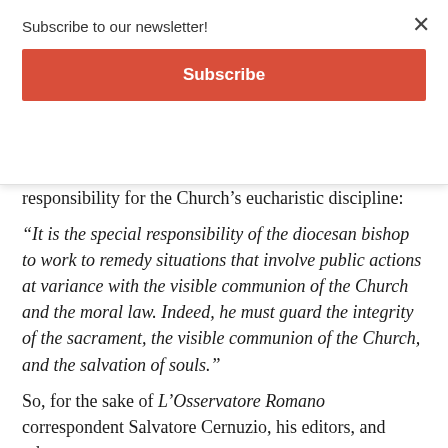Subscribe to our newsletter!
Subscribe
responsibility for the Church’s eucharistic discipline:
“It is the special responsibility of the diocesan bishop to work to remedy situations that involve public actions at variance with the visible communion of the Church and the moral law. Indeed, he must guard the integrity of the sacrament, the visible communion of the Church, and the salvation of souls.”
So, for the sake of L’Osservatore Romano correspondent Salvatore Cernuzio, his editors, and other